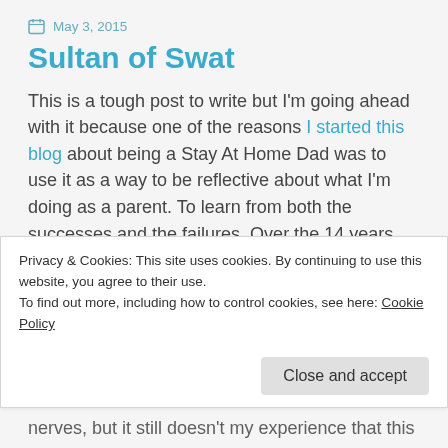May 3, 2015
Sultan of Swat
This is a tough post to write but I'm going ahead with it because one of the reasons I started this blog about being a Stay At Home Dad was to use it as a way to be reflective about what I'm doing as a parent. To learn from both the successes and the failures. Over the 14 years I've been a SAHD (and the six years before that as a middle school teacher)
Privacy & Cookies: This site uses cookies. By continuing to use this website, you agree to their use.
To find out more, including how to control cookies, see here: Cookie Policy
nerves, but it still doesn't my experience that this